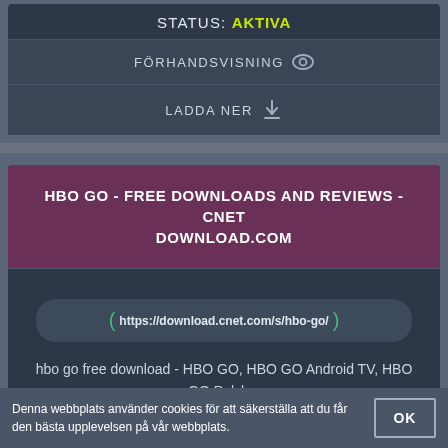STATUS: AKTIVA
FÖRHANDSVISNING
LADDA NER
HBO GO - FREE DOWNLOADS AND REVIEWS - CNET DOWNLOAD.COM
https://download.cnet.com/s/hbo-go/
hbo go free download - HBO GO, HBO GO Android TV, HBO GO Polska, and many more programs
STATUS: AKTIVA
FÖRHANDSVISNING
Denna webbplats använder cookies för att säkerställa att du får den bästa upplevelsen på vår webbplats.